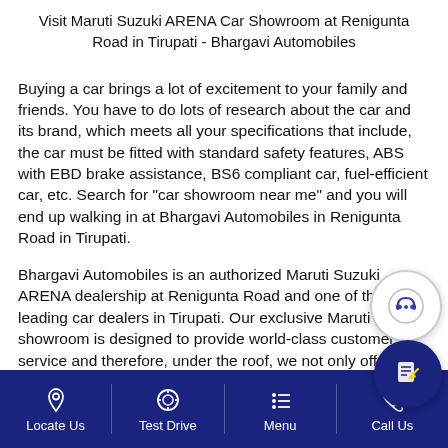Visit Maruti Suzuki ARENA Car Showroom at Renigunta Road in Tirupati - Bhargavi Automobiles
Buying a car brings a lot of excitement to your family and friends. You have to do lots of research about the car and its brand, which meets all your specifications that include, the car must be fitted with standard safety features, ABS with EBD brake assistance, BS6 compliant car, fuel-efficient car, etc. Search for "car showroom near me" and you will end up walking in at Bhargavi Automobiles in Renigunta Road in Tirupati.
Bhargavi Automobiles is an authorized Maruti Suzuki ARENA dealership at Renigunta Road and one of the leading car dealers in Tirupati. Our exclusive Maruti showroom is designed to provide world-class customer service and therefore, under the roof, we not only offer sales and service to our customers, but also offer other
[Figure (screenshot): Chat support button (headset icon in circle) and form/enquiry button (blue circle with document-pen icon) overlaid on the page content]
Locate Us | Test Drive | Menu | Call Us